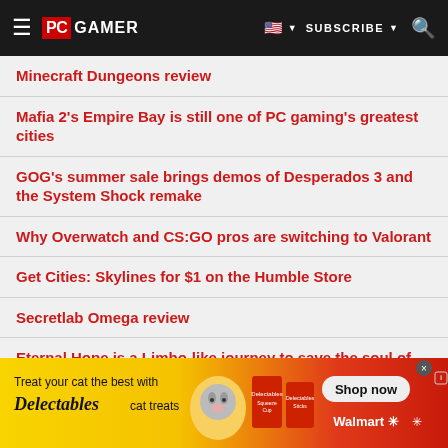PC GAMER — SUBSCRIBE
Minecraft Dungeons review
Mafia 2's Empire Bay is still one of PC gaming's greatest cities
GOG's summer sale brings demos of Desperados 3 and the System Shock remake
Why Overwatch and CS:GO pros are switching to Valorant
Get Cities: Skylines for $1 on the Humble Store
Secretlab Omega review
Eternal Hope is a Limbo-like journey to save the soul of your beloved
AMD Radeon RX 5500 XT 8GB review
[Figure (screenshot): Advertisement banner: Delectables cat treats — Treat your cat the best with Delectables cat treats. Shop now at Walmart.]